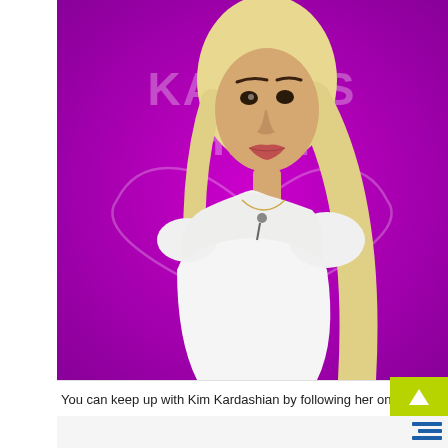[Figure (photo): A woman with long blonde hair wearing a white dress stands in front of a purple background with 'KARDASHIAN' text and a heart/diamond logo. She is photographed from the waist up, facing slightly to the side.]
You can keep up with Kim Kardashian by following her on Inst